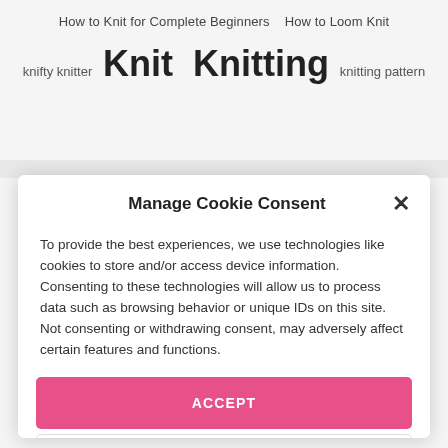How to Knit for Complete Beginners   How to Loom Knit
knifty knitter   Knit   Knitting   knitting pattern
Manage Cookie Consent
To provide the best experiences, we use technologies like cookies to store and/or access device information. Consenting to these technologies will allow us to process data such as browsing behavior or unique IDs on this site. Not consenting or withdrawing consent, may adversely affect certain features and functions.
ACCEPT
DENY
VIEW PREFERENCES
Cookie Policy   Privacy Policy